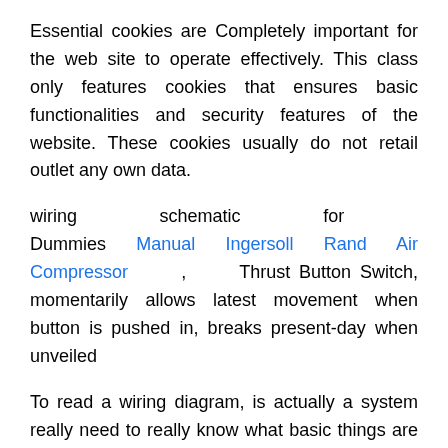Essential cookies are Completely important for the web site to operate effectively. This class only features cookies that ensures basic functionalities and security features of the website. These cookies usually do not retail outlet any own data.
wiring schematic for Dummies Manual Ingersoll Rand Air Compressor , Thrust Button Switch, momentarily allows latest movement when button is pushed in, breaks present-day when unveiled
To read a wiring diagram, is actually a system really need to really know what basic things are integrated inside a wiring diagram, and which pictorial symbols are broadly-used to symbolize them. A Secret Weapon For wiring schematic Owners Manual For 2015 Jeep Grand Cherokee .